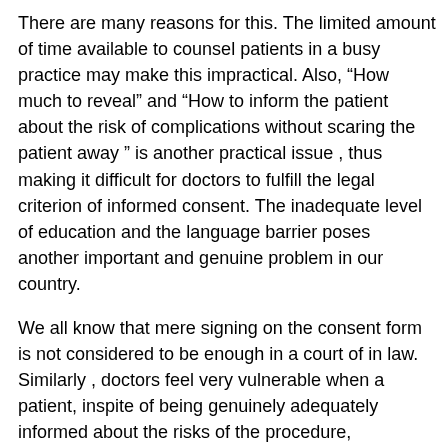There are many reasons for this. The limited amount of time available to counsel patients in a busy practice may make this impractical. Also, “How much to reveal” and “How to inform the patient about the risk of complications without scaring the patient away ” is another practical issue , thus making it difficult for doctors to fulfill the legal criterion of informed consent. The inadequate level of education and the language barrier poses another important and genuine problem in our country.
We all know that mere signing on the consent form is not considered to be enough in a court of in law. Similarly , doctors feel very vulnerable when a patient, inspite of being genuinely adequately informed about the risks of the procedure, conveniently claims that no explanation was given to him by the doctor, when he is on the witness stand !
All good doctors want to have a truthful, genuine, transparent doctor- patient relationship where the interests of both the parties are recognised and respected. There is adequate data to prove that giving proper information to patients has improved patient satisfaction and decreased litigation in